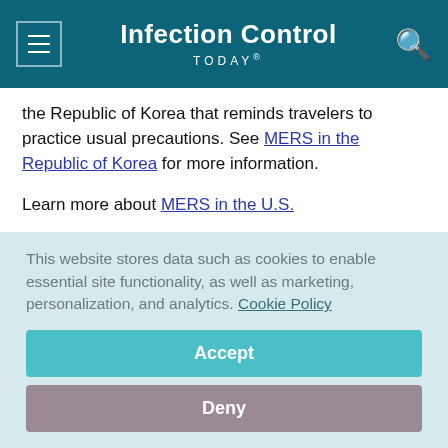Infection Control TODAY®
the Republic of Korea that reminds travelers to practice usual precautions. See MERS in the Republic of Korea for more information.
Learn more about MERS in the U.S.
Source: CDC
The CDC has issued an alert on MERS.
This website stores data such as cookies to enable essential site functionality, as well as marketing, personalization, and analytics. Cookie Policy
Accept
Deny